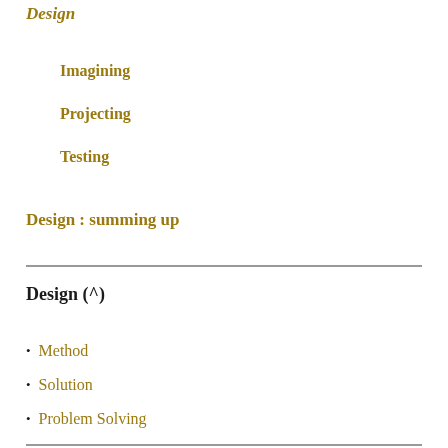Design
Imagining
Projecting
Testing
Design : summing up
Design  (^)
Method
Solution
Problem Solving